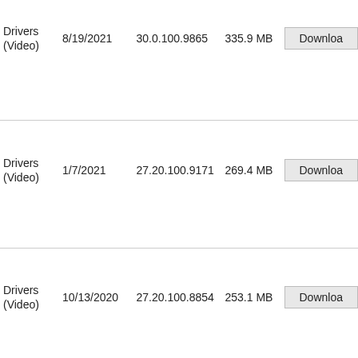| Name | Date | Version | Size | Action |
| --- | --- | --- | --- | --- |
| Drivers (Video) | 8/19/2021 | 30.0.100.9865 | 335.9 MB | Download |
| Drivers (Video) | 1/7/2021 | 27.20.100.9171 | 269.4 MB | Download |
| Drivers (Video) | 10/13/2020 | 27.20.100.8854 | 253.1 MB | Download |